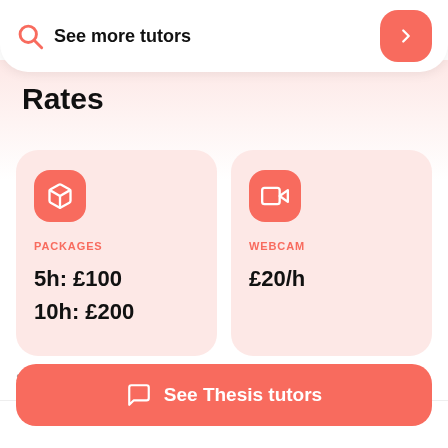See more tutors
Rates
PACKAGES
5h: £100
10h: £200
WEBCAM
£20/h
Superprof > Private Lessons > Thesis lessons > latin lessons
See Thesis tutors